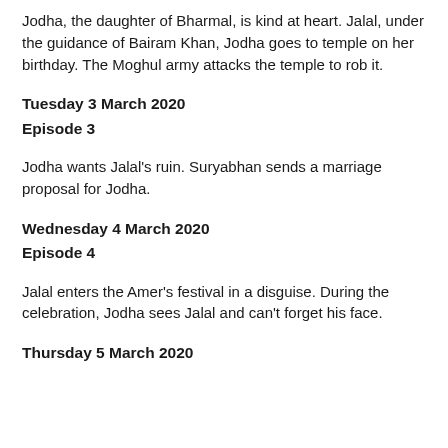Jodha, the daughter of Bharmal, is kind at heart. Jalal, under the guidance of Bairam Khan, Jodha goes to temple on her birthday. The Moghul army attacks the temple to rob it.
Tuesday 3 March 2020
Episode 3
Jodha wants Jalal's ruin. Suryabhan sends a marriage proposal for Jodha.
Wednesday 4 March 2020
Episode 4
Jalal enters the Amer's festival in a disguise. During the celebration, Jodha sees Jalal and can't forget his face.
Thursday 5 March 2020